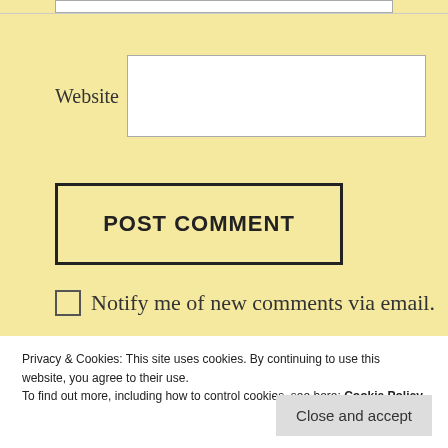Website
POST COMMENT
Notify me of new comments via email.
Notify me of new posts via email.
Privacy & Cookies: This site uses cookies. By continuing to use this website, you agree to their use.
To find out more, including how to control cookies, see here: Cookie Policy
Close and accept